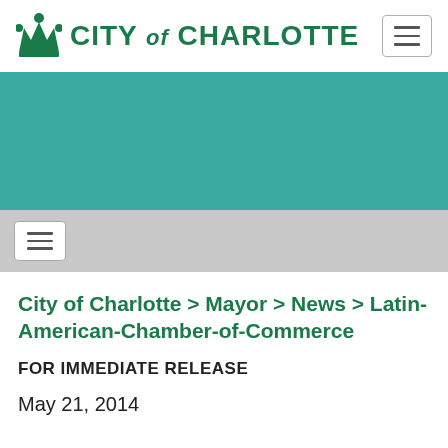CITY of CHARLOTTE
[Figure (illustration): City of Charlotte government logo with crown icon and text]
[Figure (screenshot): Teal/green hero banner image area]
[Figure (screenshot): Gray navigation bar with hamburger menu button]
City of Charlotte > Mayor > News > Latin-American-Chamber-of-Commerce
FOR IMMEDIATE RELEASE
May 21, 2014